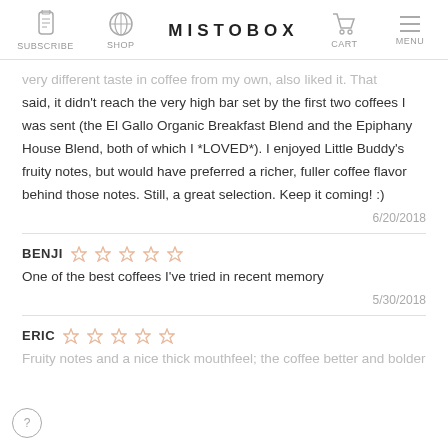MISTOBOX — SUBSCRIBE SHOP CART MENU
very different taste in coffee from my own, also liked it. That said, it didn't reach the very high bar set by the first two coffees I was sent (the El Gallo Organic Breakfast Blend and the Epiphany House Blend, both of which I *LOVED*). I enjoyed Little Buddy's fruity notes, but would have preferred a richer, fuller coffee flavor behind those notes. Still, a great selection. Keep it coming! :)
6/20/2018
BENJI ☆☆☆☆☆
One of the best coffees I've tried in recent memory
5/30/2018
ERIC ☆☆☆☆☆
Fruity notes and a nice thick mouthfeel; the coffee better and bolder